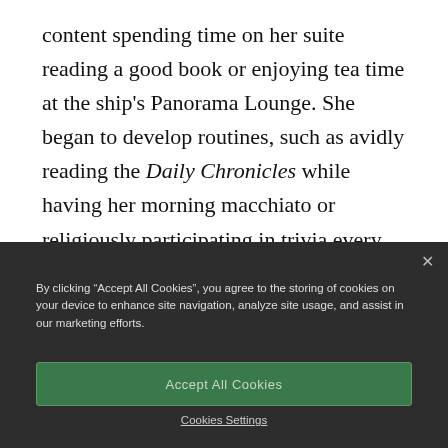content spending time on her suite reading a good book or enjoying tea time at the ship's Panorama Lounge. She began to develop routines, such as avidly reading the Daily Chronicles while having her morning macchiato or religiously participating in trivia every afternoon.
By clicking “Accept All Cookies”, you agree to the storing of cookies on your device to enhance site navigation, analyze site usage, and assist in our marketing efforts.
Accept All Cookies
Cookies Settings